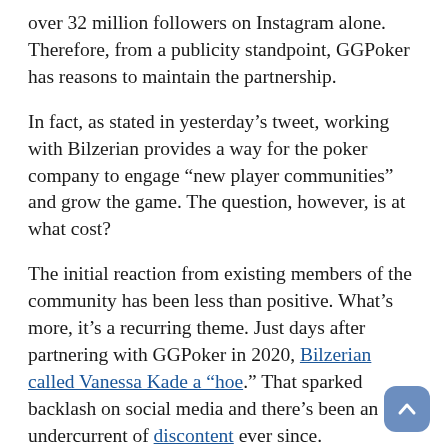over 32 million followers on Instagram alone. Therefore, from a publicity standpoint, GGPoker has reasons to maintain the partnership.
In fact, as stated in yesterday's tweet, working with Bilzerian provides a way for the poker company to engage “new player communities” and grow the game. The question, however, is at what cost?
The initial reaction from existing members of the community has been less than positive. What’s more, it’s a recurring theme. Just days after partnering with GGPoker in 2020, Bilzerian called Vanessa Kade a “hoe.” That sparked backlash on social media and there’s been an undercurrent of discontent ever since.
For now, whether some people like it or not, Bilzerian